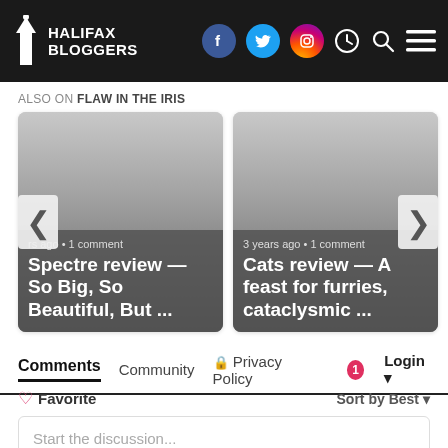Halifax Bloggers
ALSO ON FLAW IN THE IRIS
[Figure (screenshot): Card 1: blog post preview - 'rs ago • 1 comment / Spectre review — So Big, So Beautiful, But ...']
[Figure (screenshot): Card 2: blog post preview - '3 years ago • 1 comment / Cats review — A feast for furries, cataclysmic ...']
Comments  Community  🔒 Privacy Policy  1  Login
♡ Favorite    Sort by Best ▾
Start the discussion...